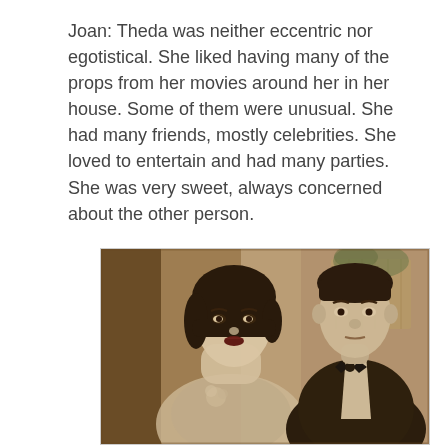Joan: Theda was neither eccentric nor egotistical. She liked having many of the props from her movies around her in her house. Some of them were unusual. She had many friends, mostly celebrities. She loved to entertain and had many parties. She was very sweet, always concerned about the other person.
[Figure (photo): Vintage sepia-toned photograph of a woman with a dark bob haircut and a man in a tuxedo with a bow tie, likely from the 1920s or 1930s era.]